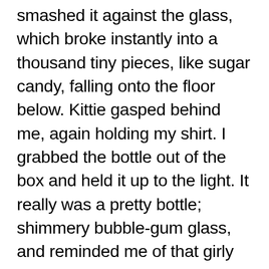smashed it against the glass, which broke instantly into a thousand tiny pieces, like sugar candy, falling onto the floor below. Kittie gasped behind me, again holding my shirt. I grabbed the bottle out of the box and held it up to the light. It really was a pretty bottle; shimmery bubble-gum glass, and reminded me of that girly perfume that smells like cake. There didn’t appear to be anything inside of it, though it was hard to tell.

I asked out loud, to no one in particular, “What now?”, I wasn’t sure how the powder worked and, in any case, there was no obvious way to open the bottle and get to its contents. Feeling potent frustration, I played with the bottle in my